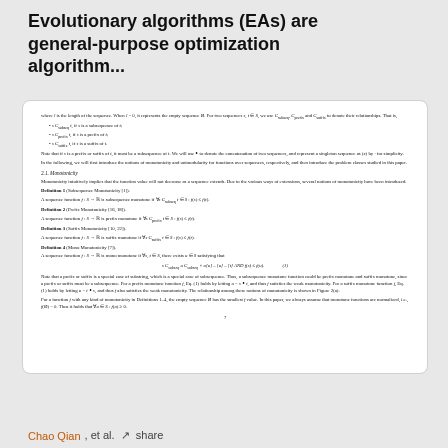Evolutionary algorithms (EAs) are general-purpose optimization algorithm...
[Figure (screenshot): A rendered page from a scientific paper showing definitions of monotonicity for sequence functions, including Definitions 1-4 (Subsequence Monotonicity, Prefix Monotonicity, Suffix Monotonicity, Mono Monotonicity), with a formula and surrounding explanatory text. Page number 7 at the bottom.]
Chao Qian et al. · share